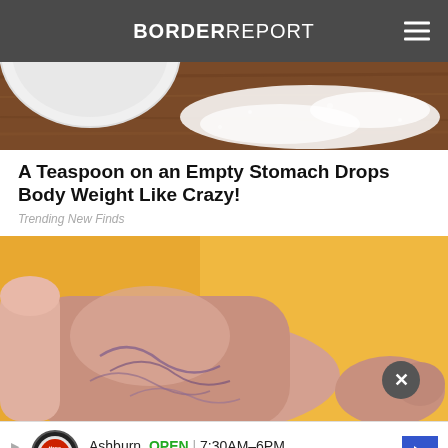BORDER REPORT
[Figure (photo): Close-up photo of white powder/flour spilled on a wooden surface with a white bowl partially visible]
A Teaspoon on an Empty Stomach Drops Body Weight Like Crazy!
Trending New Finds
[Figure (photo): Close-up photo of a person's foot/ankle showing varicose veins on a yellow background]
Ashburn OPEN | 7:30AM–6PM  43781 Parkhurst Plaza, Ashburn